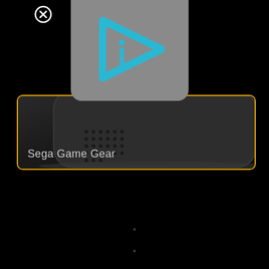[Figure (screenshot): UI screenshot showing a close/dismiss button (circled X) in the top-left area, a gray logo card overlaid at top-center featuring a cyan/blue stylized play-button with letter i (Infuse app logo), a game console card with gold/yellow border showing a partial image of a Sega Game Gear device, and the label 'Sega Game Gear' at the bottom of the card. Background is black. Two small navigation dots visible at bottom.]